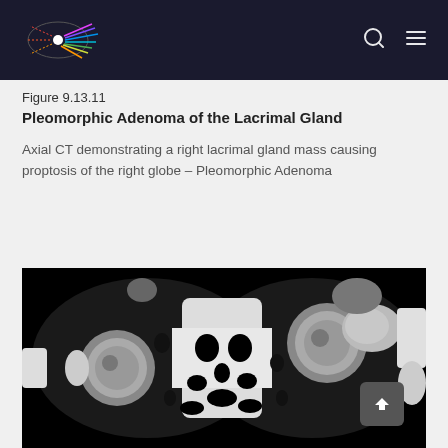Navigation header with logo and icons
Figure 9.13.11
Pleomorphic Adenoma of the Lacrimal Gland
Axial CT demonstrating a right lacrimal gland mass causing proptosis of the right globe – Pleomorphic Adenoma
[Figure (photo): Axial CT scan image showing bilateral orbits with right lacrimal gland mass causing proptosis of the right globe. Black and white medical imaging showing eye globes and surrounding orbital structures.]